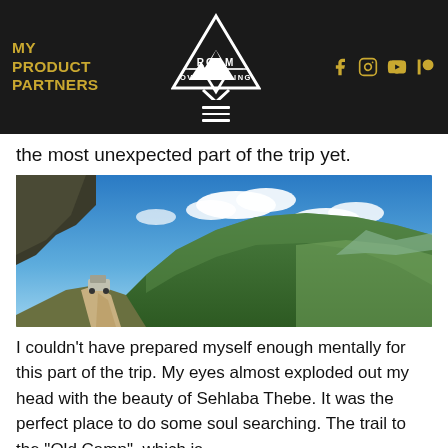MY PRODUCT PARTNERS
[Figure (logo): Roam Overlanding logo — mountain triangle with text ROAM OVERLANDING in white on dark background, with hamburger menu below]
the most unexpected part of the trip yet.
[Figure (photo): Scenic overlanding photo — a vehicle on a dirt trail climbing a green hillside with a dramatic blue sky and clouds in the background, Sehlaba Thebe landscape]
I couldn't have prepared myself enough mentally for this part of the trip. My eyes almost exploded out my head with the beauty of Sehlaba Thebe. It was the perfect place to do some soul searching. The trail to the "Old Camp", which is